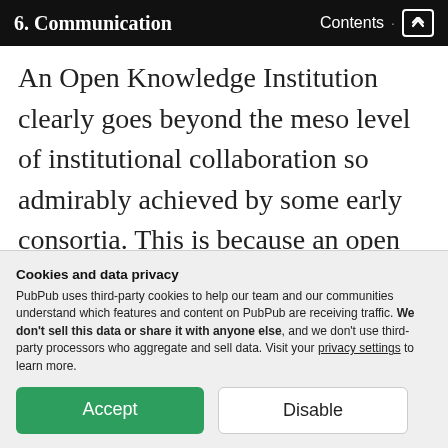6. Communication · Contents ↑
An Open Knowledge Institution clearly goes beyond the meso level of institutional collaboration so admirably achieved by some early consortia. This is because an open knowledge agenda involves more intensive external collaborations, both at the micro level of community individuals and groups, and at the macro level of
Cookies and data privacy
PubPub uses third-party cookies to help our team and our communities understand which features and content on PubPub are receiving traffic. We don't sell this data or share it with anyone else, and we don't use third-party processors who aggregate and sell data. Visit your privacy settings to learn more.